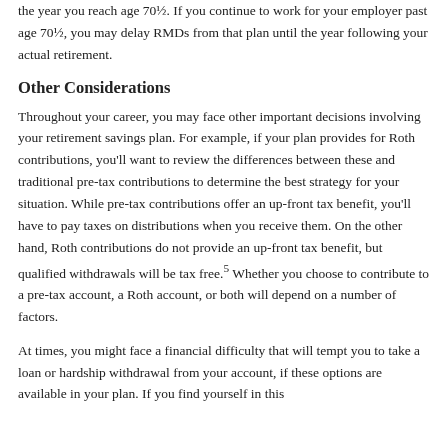the year you reach age 70½. If you continue to work for your employer past age 70½, you may delay RMDs from that plan until the year following your actual retirement.
Other Considerations
Throughout your career, you may face other important decisions involving your retirement savings plan. For example, if your plan provides for Roth contributions, you'll want to review the differences between these and traditional pre-tax contributions to determine the best strategy for your situation. While pre-tax contributions offer an up-front tax benefit, you'll have to pay taxes on distributions when you receive them. On the other hand, Roth contributions do not provide an up-front tax benefit, but qualified withdrawals will be tax free.5 Whether you choose to contribute to a pre-tax account, a Roth account, or both will depend on a number of factors.
At times, you might face a financial difficulty that will tempt you to take a loan or hardship withdrawal from your account, if these options are available in your plan. If you find yourself in this